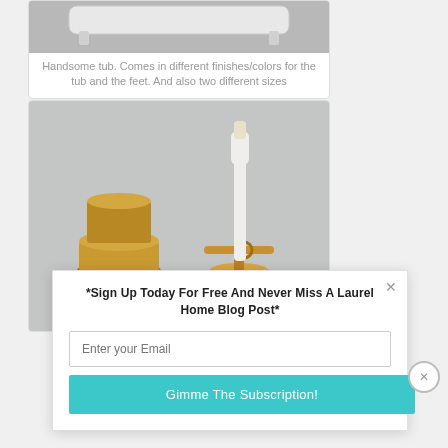[Figure (photo): Top portion of a bathtub product photo on white background]
Handsome tub. Comes in different finishes/colors for the tub and the feet. And also two different sizes
[Figure (photo): Gold/brass toothbrush holder and soap dish with a white toothbrush, on grey background]
*Sign Up Today For Free And Never Miss A Laurel Home Blog Post*
Enter your Email
Gimme The Subscription!